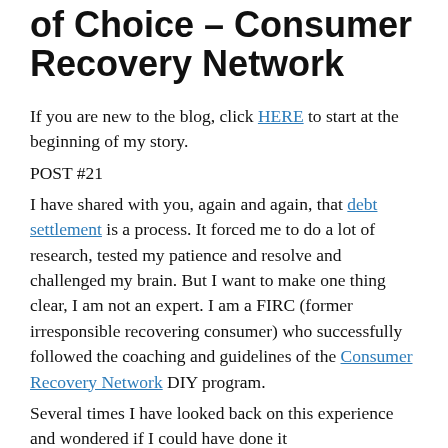of Choice – Consumer Recovery Network
If you are new to the blog, click HERE to start at the beginning of my story.
POST #21
I have shared with you, again and again, that debt settlement is a process. It forced me to do a lot of research, tested my patience and resolve and challenged my brain. But I want to make one thing clear, I am not an expert. I am a FIRC (former irresponsible recovering consumer) who successfully followed the coaching and guidelines of the Consumer Recovery Network DIY program.
Several times I have looked back on this experience and wondered if I could have done it...